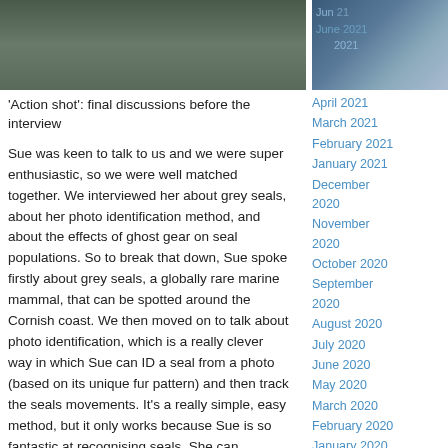[Figure (photo): Top photo strip showing people in discussion before an interview, with a blue-toned photo on the right sidebar portion]
'Action shot': final discussions before the interview
Sue was keen to talk to us and we were super enthusiastic, so we were well matched together. We interviewed her about grey seals, about her photo identification method, and about the effects of ghost gear on seal populations. So to break that down, Sue spoke firstly about grey seals, a globally rare marine mammal, that can be spotted around the Cornish coast. We then moved on to talk about photo identification, which is a really clever way in which Sue can ID a seal from a photo (based on its unique fur pattern) and then track the seals movements. It's a really simple, easy method, but it only works because Sue is so fantastic at recognising seals. She can recognise over a 1000 seals on sight, which I find so impressive! I don't even know if I could recognise 1000 humans by sight. The third part of our podcast focused on ghost gear. Put simply, ghost gear is any type of fishing gear that is lost or abandoned in the sea, for example nets, pots and ropes. Globally, 640,000 tonnes of fishing gear are lost every year, and it poses a huge threat to all marine mammals, turtles, fish and birds as well as seals, as these animals become
April 2021
March 2021
February 2021
January 2021
December 2020
November 2020
October 2020
September 2020
August 2020
July 2020
June 2020
May 2020
March 2020
February 2020
January 2020
November 2019
October 2019
September 2019
August 2019